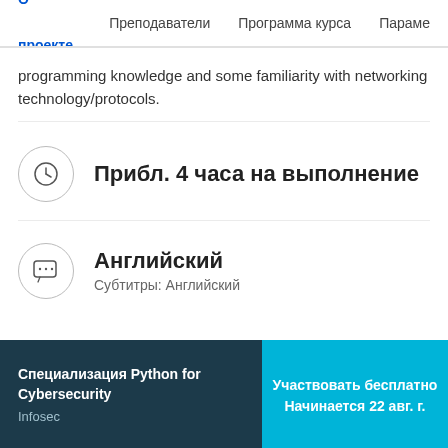О проекте  Преподаватели  Программа курса  Параме
programming knowledge and some familiarity with networking technology/protocols.
Прибл. 4 часа на выполнение
Английский
Субтитры: Английский
Специализация Python for Cybersecurity
Infosec
Участвовать бесплатно
Начинается 22 авг. г.